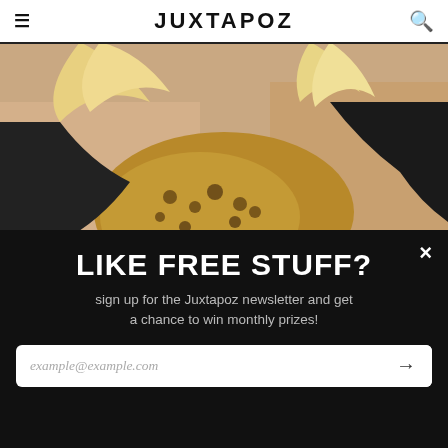JUXTAPOZ
[Figure (photo): Painting of two women in leopard print and black outfits, cropped at torso level]
Juxtapoz
The Work of Amandalynn
Coming from a traditional fine art background, Amandalynn takes her expertise in art and painting into an array of applications. She studied at the Academy of Art in San Francisco and received a Bach
February 19, 2012
[Figure (photo): Thumbnail image of botanical/nature artwork]
[Figure (photo): Thumbnail image of grey/blue textured surface]
LIKE FREE STUFF?
sign up for the Juxtapoz newsletter and get a chance to win monthly prizes!
example@example.com